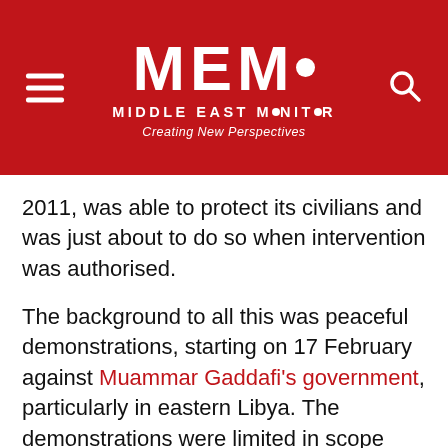MEMO MIDDLE EAST MONITOR Creating New Perspectives
2011, was able to protect its civilians and was just about to do so when intervention was authorised.
The background to all this was peaceful demonstrations, starting on 17 February against Muammar Gaddafi's government, particularly in eastern Libya. The demonstrations were limited in scope and in numbers, but different Islamist groups quickly turned them into an armed rebellion against the government and the authority responded, probably with excessive force in some cases. However, any respected and responsible